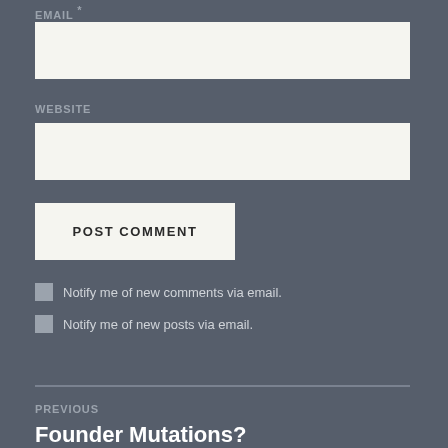EMAIL *
[Figure (other): Email input text field (empty, light background)]
WEBSITE
[Figure (other): Website input text field (empty, light background)]
POST COMMENT
Notify me of new comments via email.
Notify me of new posts via email.
PREVIOUS
Founder Mutations?